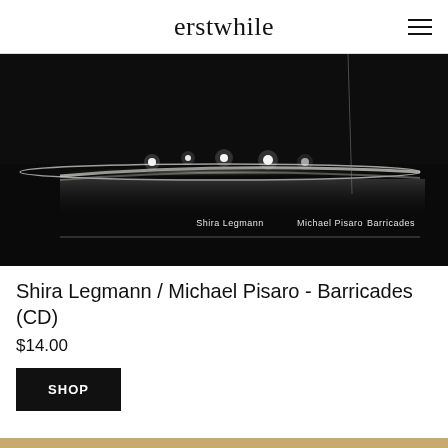erstwhile
[Figure (photo): Album cover for Shira Legmann / Michael Pisaro - Barricades. Dark black background with glowing white dots or light reflections arranged along a diagonal line, with a blurred metallic or reflective surface. Text on the image reads: Shira Legmann  Michael Pisaro  Barricades]
Shira Legmann / Michael Pisaro - Barricades (CD)
$14.00
SHOP